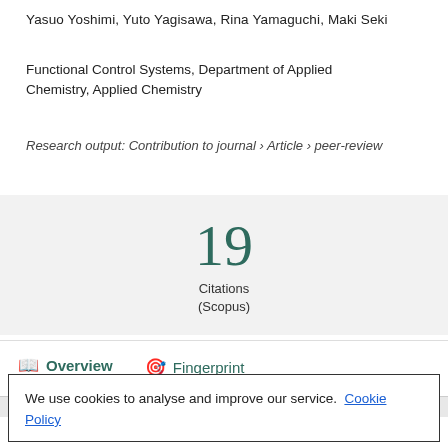Yasuo Yoshimi, Yuto Yagisawa, Rina Yamaguchi, Maki Seki
Functional Control Systems, Department of Applied Chemistry, Applied Chemistry
Research output: Contribution to journal › Article › peer-review
19
Citations
(Scopus)
Overview
Fingerprint
We use cookies to analyse and improve our service. Cookie Policy